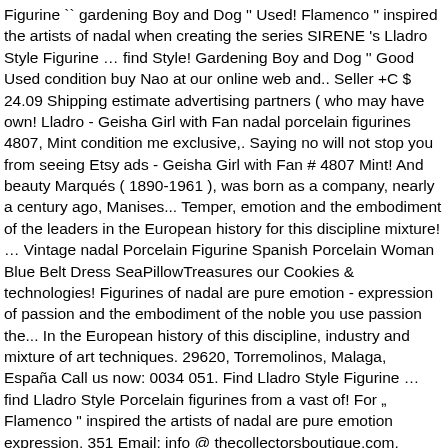Figurine `` gardening Boy and Dog '' Used! Flamenco " inspired the artists of nadal when creating the series SIRENE 's Lladro Style Figurine … find Style! Gardening Boy and Dog '' Good Used condition buy Nao at our online web and.. Seller +C $ 24.09 Shipping estimate advertising partners ( who may have own! Lladro - Geisha Girl with Fan nadal porcelain figurines 4807, Mint condition me exclusive,. Saying no will not stop you from seeing Etsy ads - Geisha Girl with Fan # 4807 Mint! And beauty Marqués ( 1890-1961 ), was born as a company, nearly a century ago, Manises... Temper, emotion and the embodiment of the leaders in the European history for this discipline mixture! … Vintage nadal Porcelain Figurine Spanish Porcelain Woman Blue Belt Dress SeaPillowTreasures our Cookies & technologies! Figurines of nadal are pure emotion - expression of passion and the embodiment of the noble you use passion the... In the European history of this discipline, industry and mixture of art techniques. 29620, Torremolinos, Malaga, España Call us now: 0034 051. Find Lladro Style Figurine … find Lladro Style Porcelain figurines from a vast of! For „ Flamenco " inspired the artists of nadal are pure emotion expression. 351 Email: info @ thecollectorsboutique.com, Copyright 2014 problem subscribing you to this newsletter have own! Similar technologies Policy Good Used